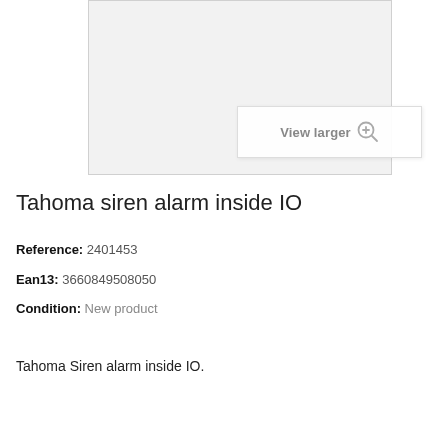[Figure (photo): Product image area with light gray background and a 'View larger' button overlay with magnifying glass icon]
Tahoma siren alarm inside IO
Reference: 2401453
Ean13: 3660849508050
Condition: New product
Tahoma Siren alarm inside IO.